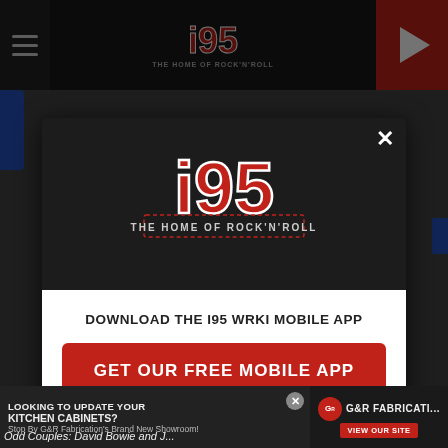[Figure (screenshot): i95 radio station website screenshot showing a modal popup dialog. The modal has the i95 'The Home of Rock N Roll' logo on a dark background, a white section with 'DOWNLOAD THE I95 WRKI MOBILE APP' text, a red 'GET OUR FREE MOBILE APP' button, and 'Also listen on: amazon alexa' text. The background shows the website header with hamburger menu, i95 logo, and a play button. A bottom advertisement for G&R Fabrication kitchen cabinets is visible.]